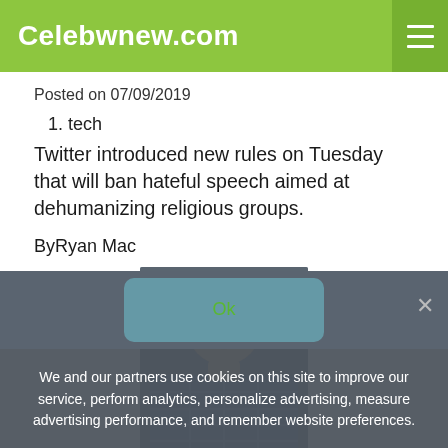Celebwnew.com
Posted on 07/09/2019
1. tech
Twitter introduced new rules on Tuesday that will ban hateful speech aimed at dehumanizing religious groups.
ByRyan Mac
[Figure (photo): Headshot photo of Ryan Mac, a man in a blue plaid shirt against a dark background]
We and our partners use cookies on this site to improve our service, perform analytics, personalize advertising, measure advertising performance, and remember website preferences.